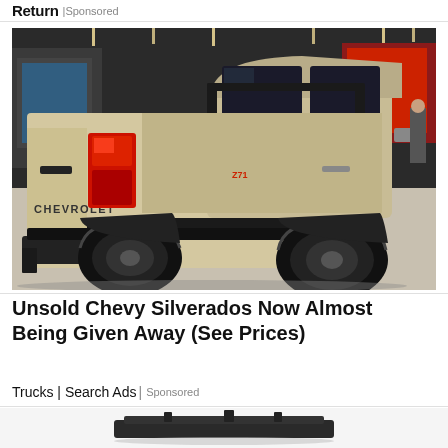Return | Sponsored
[Figure (photo): A tan/beige Chevrolet Colorado ZR2 pickup truck displayed at an auto show, viewed from the rear-side angle, with black wheels and CHEVROLET badging on the tailgate.]
Unsold Chevy Silverados Now Almost Being Given Away (See Prices)
Trucks | Search Ads | Sponsored
[Figure (photo): Bottom of page showing partial image of a dark-colored automotive or truck accessory component.]